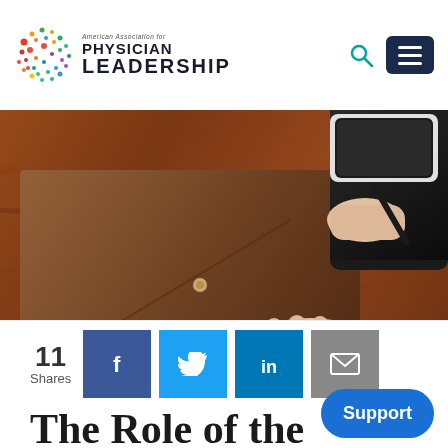American Association for PHYSICIAN LEADERSHIP
[Figure (photo): Person in black jacket writing on a leather portfolio/notebook on a wooden desk, with a smartphone visible in the background]
11 Shares
The Role of the Physician Leader...